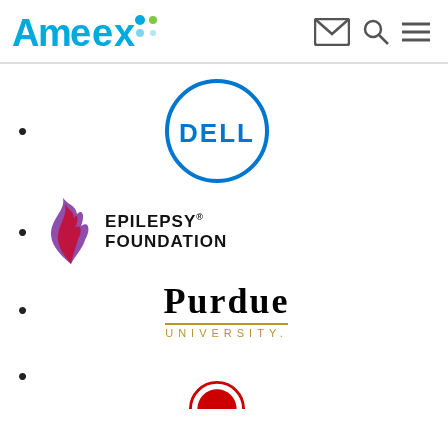Ameex
[Figure (logo): Dell logo — blue circle outline with 'DELL' text in blue inside]
[Figure (logo): Epilepsy Foundation logo — stylized purple/red flame graphic with 'EPILEPSY FOUNDATION' text]
[Figure (logo): Purdue University logo — 'PURDUE' in large serif black text with 'UNIVERSITY.' in gold tracking below]
[Figure (logo): Partially visible red circular logo at bottom]